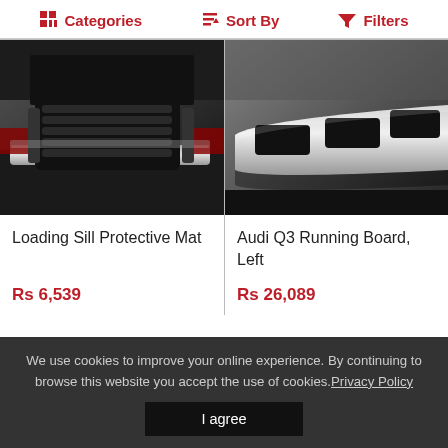Categories  Sort By  Filters
[Figure (photo): Loading sill protective mat on rear bumper of an Audi SUV]
[Figure (photo): Audi Q3 running board, left side, silver with black rubber step pads]
Loading Sill Protective Mat
Rs 6,539
Audi Q3 Running Board, Left
Rs 26,089
We use cookies to improve your online experience. By continuing to browse this website you accept the use of cookies. Privacy Policy
I agree